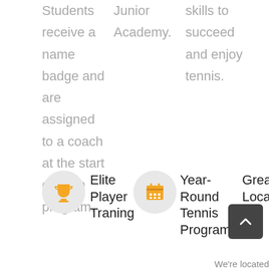Students receive a name badge and are assigned to a coach at the start of each program.
Junior Academy.
skills to succeed and enjoy tennis.
Elite Player Training
Year-Round Tennis Programs
Great Location
We're located